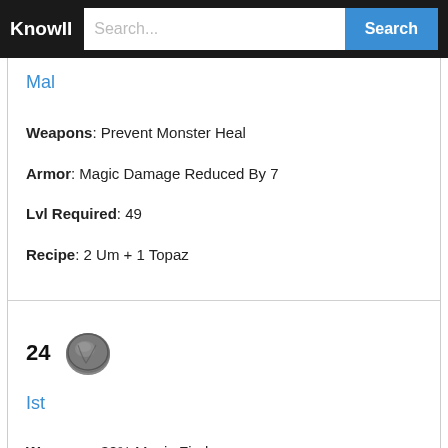KnowII  Search...  Search
Mal
Weapons: Prevent Monster Heal
Armor: Magic Damage Reduced By 7
Lvl Required: 49
Recipe: 2 Um + 1 Topaz
[Figure (illustration): Rune icon labeled 24, a dark gray rune stone]
Ist
Weapons: 30% Magic Find
Armor: 25% Magic Find
Lvl Required: 51
Recipe: 2 Mal + 1 Amethyst